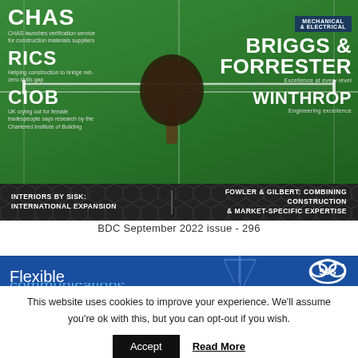[Figure (photo): Magazine cover showing a table tennis court (green) background with brand names and logos for CHAS, RICS, CIOB on the left and Briggs & Forrester, Winthrop with Mechanical & Electrical badge on the right. A ping pong paddle is visible in the center.]
INTERIORS BY SISK: INTERNATIONAL EXPANSION
FOWLER & GILBERT: COMBINING CONSTRUCTION & MARKET-SPECIFIC EXPERTISE
BDC September 2022 issue - 296
[Figure (photo): Blue banner showing 'Flexible communications' text with SCG cloud logo on the right and a construction crane silhouette.]
This website uses cookies to improve your experience. We'll assume you're ok with this, but you can opt-out if you wish.
Accept  Read More